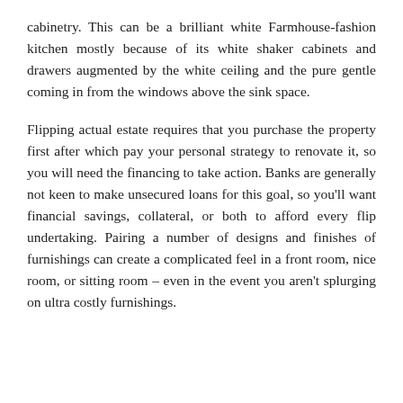cabinetry. This can be a brilliant white Farmhouse-fashion kitchen mostly because of its white shaker cabinets and drawers augmented by the white ceiling and the pure gentle coming in from the windows above the sink space.
Flipping actual estate requires that you purchase the property first after which pay your personal strategy to renovate it, so you will need the financing to take action. Banks are generally not keen to make unsecured loans for this goal, so you'll want financial savings, collateral, or both to afford every flip undertaking. Pairing a number of designs and finishes of furnishings can create a complicated feel in a front room, nice room, or sitting room – even in the event you aren't splurging on ultra costly furnishings.